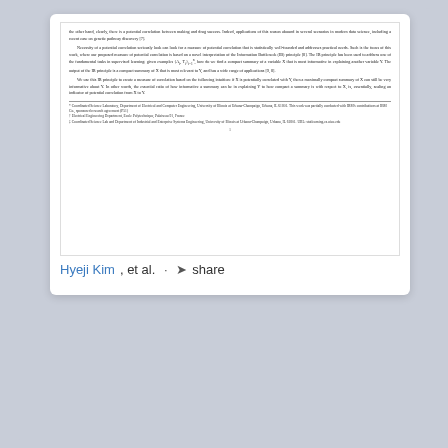[Figure (screenshot): Scanned academic paper page snippet showing abstract/introduction text about potential correlation, Information Bottleneck (IB) principle, and compact summary. Includes footnote affiliations and page number 1.]
Hyeji Kim, et al. · share